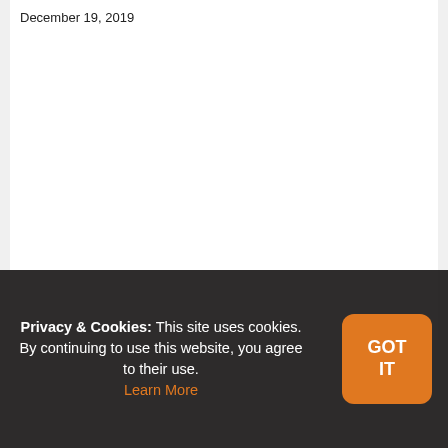December 19, 2019
[Figure (photo): Placeholder image with horizontal lines in center, light gray background]
Thoughts: Anime on a Rainy Night
November 8, 2010
Privacy & Cookies: This site uses cookies. By continuing to use this website, you agree to their use. Learn More